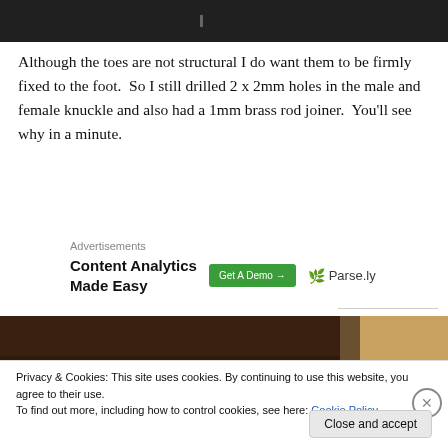[Figure (photo): Dark background photo, top strip]
Although the toes are not structural I do want them to be firmly fixed to the foot.  So I still drilled 2 x 2mm holes in the male and female knuckle and also had a 1mm brass rod joiner.  You'll see why in a minute.
[Figure (screenshot): Advertisement banner: Content Analytics Made Easy, Get A Demo button, Parse.ly logo]
[Figure (photo): Workshop/workbench photo, bottom portion of page]
Privacy & Cookies: This site uses cookies. By continuing to use this website, you agree to their use.
To find out more, including how to control cookies, see here: Cookie Policy